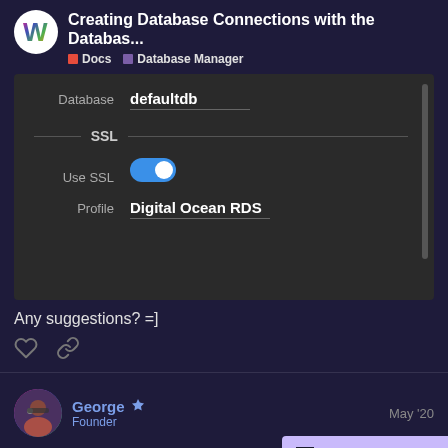Creating Database Connections with the Databas... | Docs | Database Manager
[Figure (screenshot): Database configuration UI showing 'Database: defaultdb' field and SSL section with 'Use SSL' toggle (enabled) and 'Profile: Digital Ocean RDS' field]
Any suggestions? =]
George (Founder) — May '20
Try choosing the "default" profile instead